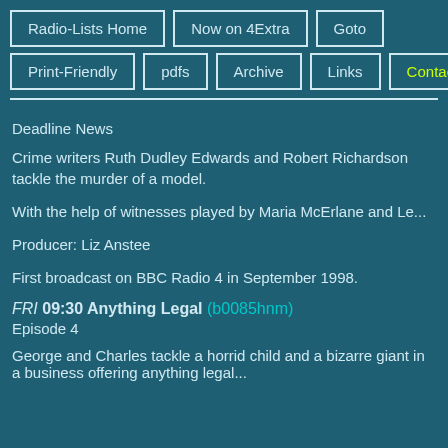Radio-Lists Home | Now on 4Extra | Goto | Print-Friendly | pdfs | Archive | Links | Contact
Deadline News
Crime writers Ruth Dudley Edwards and Robert Richardson tackle the murder of a model.
With the help of witnesses played by Maria McErlane and Le...
Producer: Liz Anstee
First broadcast on BBC Radio 4 in September 1998.
FRI 09:30 Anything Legal (b0085hnm) Episode 4
George and Charles tackle a horrid child and a bizarre giant in a business offering anything legal...